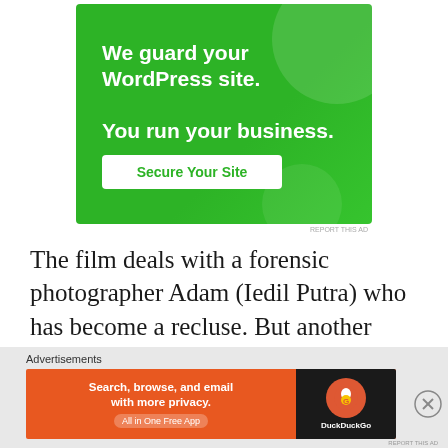[Figure (infographic): Green advertisement banner: 'We guard your WordPress site. You run your business.' with a 'Secure Your Site' button]
REPORT THIS AD
The film deals with a forensic photographer Adam (Iedil Putra) who has become a recluse. But another murder with eerie resemblances to that one has just taken place, and Detective Man (Shaheizy Sam) thinks that Adam may
Advertisements
[Figure (infographic): DuckDuckGo advertisement: 'Search, browse, and email with more privacy. All in One Free App' on orange background with DuckDuckGo logo on dark background]
REPORT THIS AD